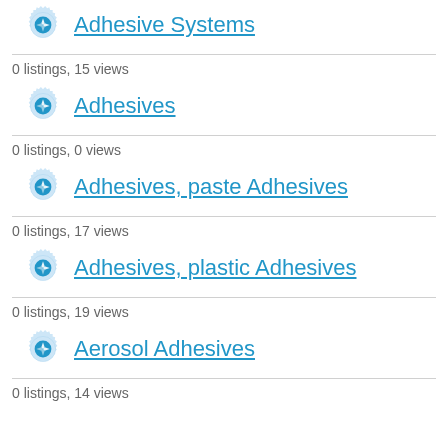Adhesive Systems
0 listings, 15 views
Adhesives
0 listings, 0 views
Adhesives, paste Adhesives
0 listings, 17 views
Adhesives, plastic Adhesives
0 listings, 19 views
Aerosol Adhesives
0 listings, 14 views